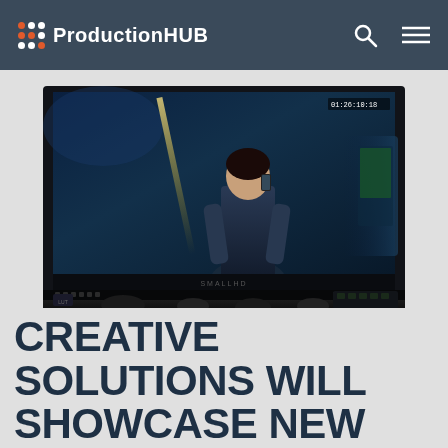ProductionHUB
[Figure (photo): A professional broadcast monitor displaying a woman in a denim jacket holding a phone, surrounded by camera equipment and control panels on a desk, set against a blue-toned studio background.]
CREATIVE SOLUTIONS WILL SHOWCASE NEW PRODUCTS FROM